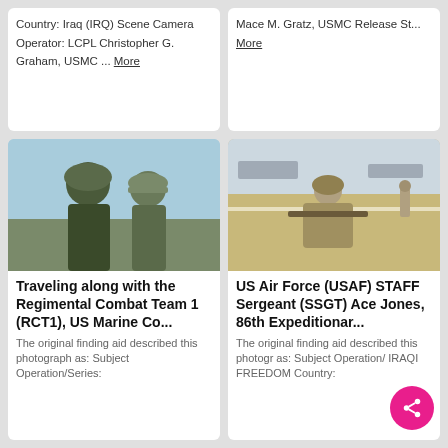Country: Iraq (IRQ) Scene Camera Operator: LCPL Christopher G. Graham, USMC ... More
Mace M. Gratz, USMC Release St... More
[Figure (photo): Two military personnel wearing combat helmets and camouflage gear, viewed from the side, outdoors]
[Figure (photo): A military servicemember in desert camouflage uniform kneeling on dry ground holding a rifle, with aircraft and another soldier visible in background]
Traveling along with the Regimental Combat Team 1 (RCT1), US Marine Co...
US Air Force (USAF) STAFF Sergeant (SSGT) Ace Jones, 86th Expeditionar...
The original finding aid described this photograph as: Subject Operation/Series:
The original finding aid described this photograph as: Subject Operation/ IRAQI FREEDOM Country: